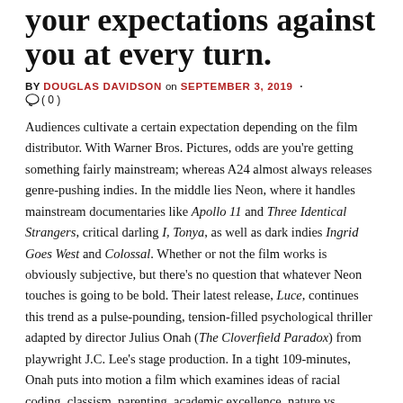your expectations against you at every turn.
BY DOUGLAS DAVIDSON on SEPTEMBER 3, 2019 · ( 0 )
Audiences cultivate a certain expectation depending on the film distributor. With Warner Bros. Pictures, odds are you're getting something fairly mainstream; whereas A24 almost always releases genre-pushing indies. In the middle lies Neon, where it handles mainstream documentaries like Apollo 11 and Three Identical Strangers, critical darling I, Tonya, as well as dark indies Ingrid Goes West and Colossal. Whether or not the film works is obviously subjective, but there's no question that whatever Neon touches is going to be bold. Their latest release, Luce, continues this trend as a pulse-pounding, tension-filled psychological thriller adapted by director Julius Onah (The Cloverfield Paradox) from playwright J.C. Lee's stage production. In a tight 109-minutes, Onah puts into motion a film which examines ideas of racial coding, classism, parenting, academic excellence, nature vs. nurture, and more, all without losing an ounce of power or sincerity.